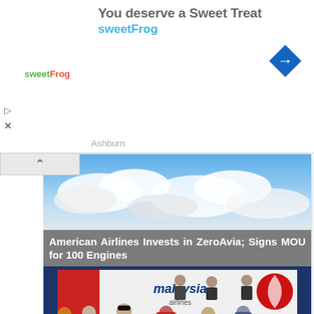[Figure (screenshot): Advertisement banner for sweetFrog frozen yogurt. Shows text 'You deserve a Sweet Treat' and 'sweetFrog' brand name with logo and blue diamond navigation icon.]
[Figure (screenshot): Web article card showing a sky with clouds image and overlay headline: 'American Airlines Invests in ZeroAvia; Signs MOU for 100 Engines']
American Airlines Invests in ZeroAvia; Signs MOU for 100 Engines
[Figure (photo): Photo of a signing ceremony at Malaysia Airlines. Several officials seated at a table with blue tablecloth, signing documents. Malaysia Airlines banner visible in background. One woman in orange uniform on the left, officials in formal attire.]